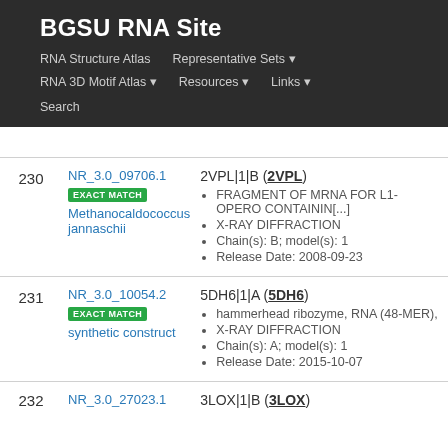BGSU RNA Site
RNA Structure Atlas | Representative Sets | RNA 3D Motif Atlas | Resources | Links | Search
| # | ID | Details |
| --- | --- | --- |
| 230 | NR_3.0_09706.1 EXACT MATCH Methanocaldococcus jannaschii | 2VPL|1|B (2VPL) • FRAGMENT OF MRNA FOR L1-OPERO CONTAININ[...] • X-RAY DIFFRACTION • Chain(s): B; model(s): 1 • Release Date: 2008-09-23 |
| 231 | NR_3.0_10054.2 EXACT MATCH synthetic construct | 5DH6|1|A (5DH6) • hammerhead ribozyme, RNA (48-MER), • X-RAY DIFFRACTION • Chain(s): A; model(s): 1 • Release Date: 2015-10-07 |
| 232 | NR_3.0_27023.1 | 3LOX|1|B (3LOX) |